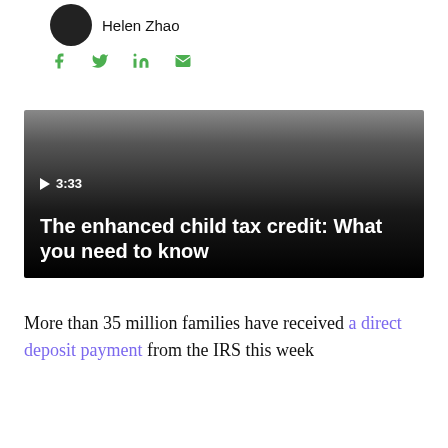Helen Zhao
[Figure (illustration): Social media share icons: Facebook (f), Twitter (bird), LinkedIn (in), Email (envelope) in green]
[Figure (screenshot): Video thumbnail with dark gradient overlay showing play button, timer '3:33', and title 'The enhanced child tax credit: What you need to know']
More than 35 million families have received a direct deposit payment from the IRS this week on the way to $300 per child. The July 15...